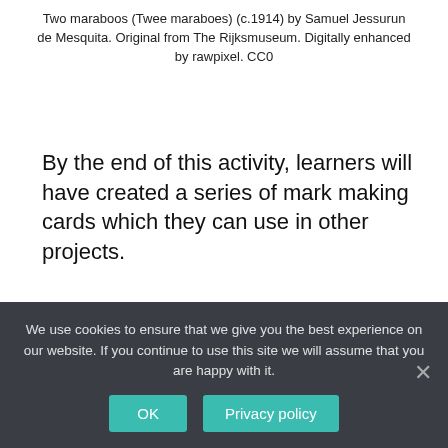Two maraboos (Twee maraboes) (c.1914) by Samuel Jessurun de Mesquita. Original from The Rijksmuseum. Digitally enhanced by rawpixel. CC0
By the end of this activity, learners will have created a series of mark making cards which they can use in other projects.
This resource helps learners to:
Look critically at work made by others, finding elements within the artwork which can be used to inspire their own artwork.
We use cookies to ensure that we give you the best experience on our website. If you continue to use this site we will assume that you are happy with it.